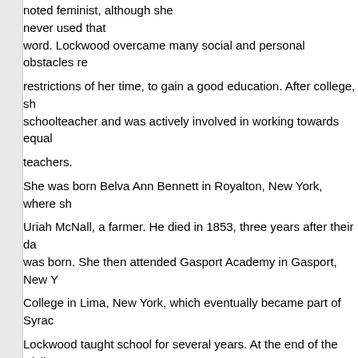noted feminist, although she never used that word. Lockwood overcame many social and personal obstacles restrictions of her time, to gain a good education. After college, she became a schoolteacher and was actively involved in working towards equal pay for teachers. She was born Belva Ann Bennett in Royalton, New York, where she married Uriah McNall, a farmer. He died in 1853, three years after their daughter was born. She then attended Gasport Academy in Gasport, New York, and College in Lima, New York, which eventually became part of Syracuse University. Lockwood taught school for several years. At the end of the Civil War, and always fascinated by politics, she decided to move to Washington. In Washington, Lockwood quickly became a member of woman suffrage organizations. In 1868, she married Ezekial Lockwood, a dentist, lobbyist and claims agent. They had a daughter, Jessie, who died before her first birthday. In 1872, Lockwood earned her law degree from what is now Washington University Law School and became one of the very first women in the U.S., although after she obtained her degree she was not allowed to practice in the U.S. Court of Claims or the United States Supreme Court; justices said coverture and the practices of centuries barred women. That didn't stop Lockwood. She lobbied Congress from 1874 to 18